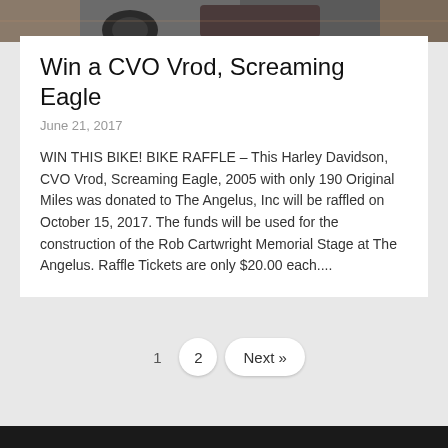[Figure (photo): Partial photo of a motorcycle, showing tire and decorative stone/brick background]
Win a CVO Vrod, Screaming Eagle
June 21, 2017
WIN THIS BIKE! BIKE RAFFLE – This Harley Davidson, CVO Vrod, Screaming Eagle, 2005 with only 190 Original Miles was donated to The Angelus, Inc will be raffled on October 15, 2017. The funds will be used for the construction of the Rob Cartwright Memorial Stage at The Angelus. Raffle Tickets are only $20.00 each....
1  2  Next »